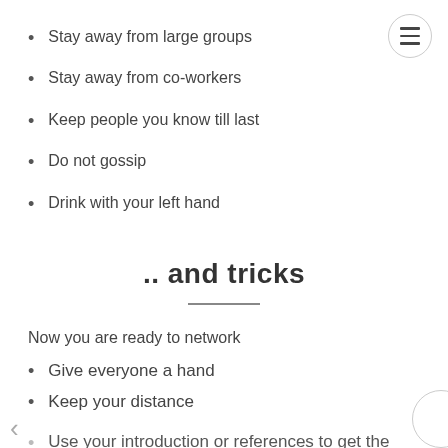Stay away from large groups
Stay away from co-workers
Keep people you know till last
Do not gossip
Drink with your left hand
.. and tricks
Now you are ready to network
Give everyone a hand
Keep your distance
Use your introduction or references to get the conversation started